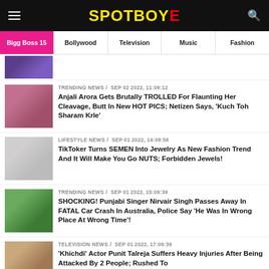SPOTBOYE
Bigg Boss 15 | Bollywood | Television | Music | Fashion
TRENDING NEWS / Sep 02 2022, 11:09:12
Anjali Arora Gets Brutally TROLLED For Flaunting Her Cleavage, Butt In New HOT PICS; Netizen Says, 'Kuch Toh Sharam Krle'
LIFESTYLE NEWS / Sep 01 2022, 14:09:56
TikToker Turns SEMEN Into Jewelry As New Fashion Trend And It Will Make You Go NUTS; Forbidden Jewels!
TRENDING NEWS / Sep 01 2022, 15:09:39
SHOCKING! Punjabi Singer Nirvair Singh Passes Away In FATAL Car Crash In Australia, Police Say 'He Was In Wrong Place At Wrong Time'!
TELEVISION NEWS / Sep 01 2022, 17:09:39
'Khichdi' Actor Punit Talreja Suffers Heavy Injuries After Being Attacked By 2 People; Rushed To